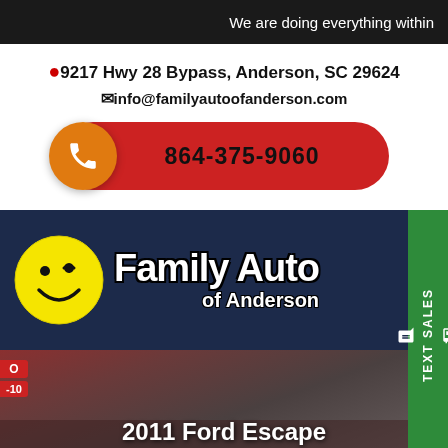We are doing everything within
9217 Hwy 28 Bypass, Anderson, SC 29624
info@familyautoofanderson.com
864-375-9060
[Figure (logo): Family Auto of Anderson logo with yellow smiley face and white bold text on dark navy background]
2011 Ford Escape
Buy Here Pay Here Car Dealership